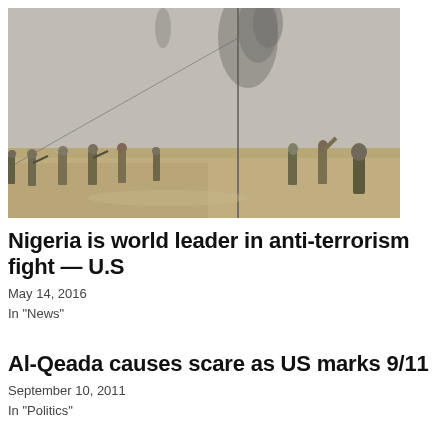[Figure (photo): Military soldiers on an open dusty field with smoke rising in the background, appearing to be in a conflict zone.]
Nigeria is world leader in anti-terrorism fight — U.S
May 14, 2016
In "News"
Al-Qeada causes scare as US marks 9/11
September 10, 2011
In "Politics"